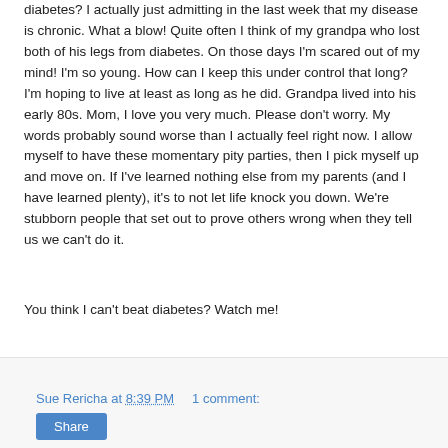diabetes?  I actually just admitting in the last week that my disease is chronic.  What a blow!  Quite often I think of my grandpa who lost both of his legs from diabetes.  On those days I'm scared out of my mind!  I'm so young.  How can I keep this under control that long?  I'm hoping to live at least as long as he did.  Grandpa lived into his early 80s.  Mom, I love you very much.  Please don't worry.  My words probably sound worse than I actually feel right now.  I allow myself to have these momentary pity parties, then I pick myself up and move on.  If I've learned nothing else from my parents (and I have learned plenty), it's to not let life knock you down.  We're stubborn people that set out to prove others wrong when they tell us we can't do it.
You think I can't beat diabetes?  Watch me!
Sue Rericha at 8:39 PM   1 comment:   Share